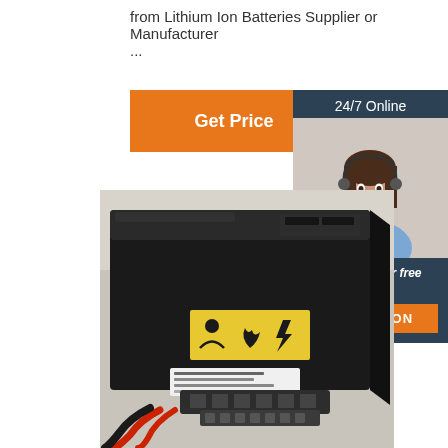from Lithium Ion Batteries Supplier or Manufacturer
...
[Figure (other): Orange 'Get Price' button]
[Figure (other): Sidebar with '24/7 Online' header, customer service representative photo, 'Click here for free chat !' text, and orange 'QUOTATION' button on dark blue background]
[Figure (photo): Photo of a large black lithium ion battery pack with yellow warning labels and cables]